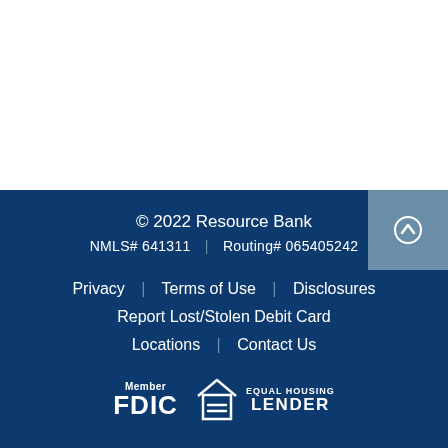© 2022 Resource Bank
NMLS# 641311 | Routing# 065405242
Privacy | Terms of Use | Disclosures
Report Lost/Stolen Debit Card
Locations | Contact Us
[Figure (logo): Member FDIC logo and Equal Housing Lender logo]